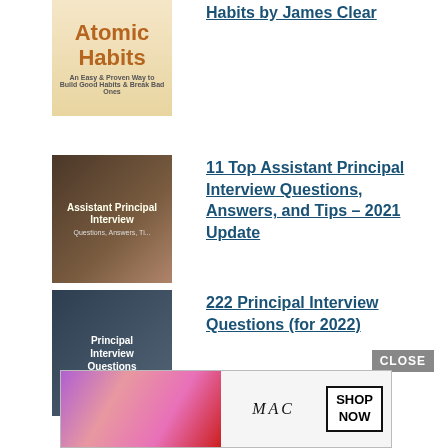[Figure (illustration): Thumbnail image of the book cover 'Atomic Habits' by James Clear]
Habits by James Clear
[Figure (illustration): Thumbnail image for '11 Top Assistant Principal Interview Questions, Answers, and Tips – 2021 Update']
11 Top Assistant Principal Interview Questions, Answers, and Tips – 2021 Update
[Figure (illustration): Thumbnail image for '222 Principal Interview Questions (for 2022)']
222 Principal Interview Questions (for 2022)
[Figure (screenshot): Close button and MAC cosmetics advertisement banner at the bottom of the page]